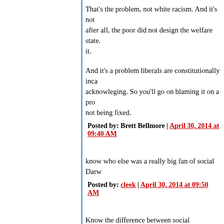That's the problem, not white racism. And it's not; after all, the poor did not design the welfare state. it.
And it's a problem liberals are constitutionally incapable of acknowleging. So you'll go on blaming it on a problem that's not being fixed.
Posted by: Brett Bellmore | April 30, 2014 at 09:40 AM
know who else was a really big fan of social Darw...
Posted by: cleek | April 30, 2014 at 09:50 AM
Know the difference between social Darwinism an...
Posted by: Brett Bellmore | April 30, 2014 at 09:56 AM
Brett: I believe that is what the war on poverty dio... environment where they didn't have to be hard wo... reproduce.
Inherited wealth certainly puts people in an enviro...